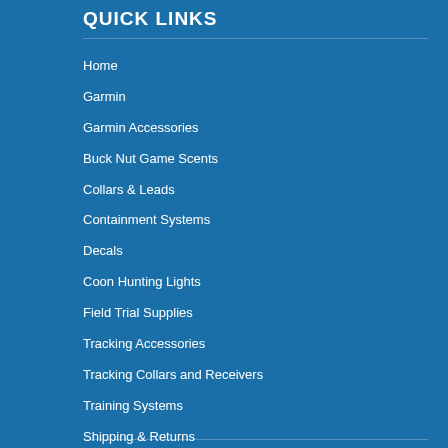QUICK LINKS
Home
Garmin
Garmin Accessories
Buck Nut Game Scents
Collars & Leads
Containment Systems
Decals
Coon Hunting Lights
Field Trial Supplies
Tracking Accessories
Tracking Collars and Receivers
Training Systems
Shipping & Returns
Blog